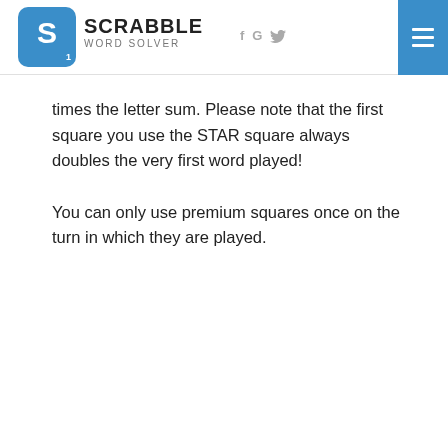SCRABBLE WORD SOLVER
times the letter sum. Please note that the first square you use the STAR square always doubles the very first word played!
You can only use premium squares once on the turn in which they are played.